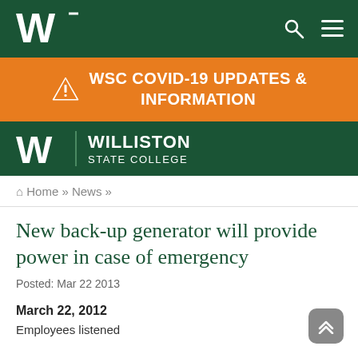Williston State College navigation bar with logo, search and menu icons
WSC COVID-19 UPDATES & INFORMATION
[Figure (logo): Williston State College logo with W emblem and college name in white on dark green background]
Home » News »
New back-up generator will provide power in case of emergency
Posted: Mar 22 2013
March 22, 2012
Employees listened...